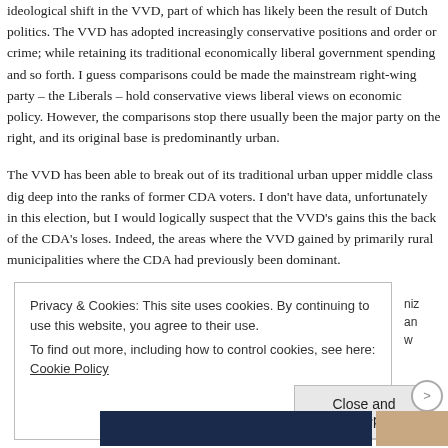ideological shift in the VVD, part of which has likely been the result of Dutch politics. The VVD has adopted increasingly conservative positions and order or crime; while retaining its traditional economically liberal government spending and so forth. I guess comparisons could be made the mainstream right-wing party – the Liberals – hold conservative views liberal views on economic policy. However, the comparisons stop there usually been the major party on the right, and its original base is predominantly urban.
The VVD has been able to break out of its traditional urban upper middle class dig deep into the ranks of former CDA voters. I don't have data, unfortunately in this election, but I would logically suspect that the VVD's gains this the back of the CDA's loses. Indeed, the areas where the VVD gained primarily rural municipalities where the CDA had previously been dominant.
Privacy & Cookies: This site uses cookies. By continuing to use this website, you agree to their use.
To find out more, including how to control cookies, see here: Cookie Policy
Close and accept